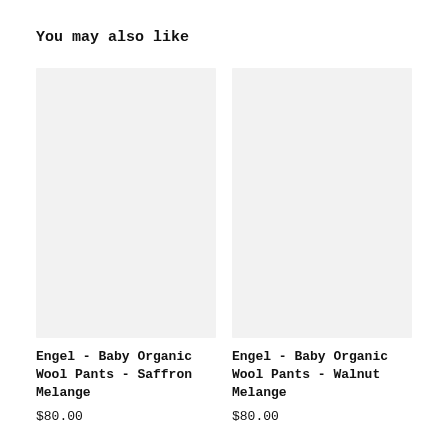You may also like
[Figure (photo): Product image placeholder — light gray rectangle for Engel Baby Organic Wool Pants Saffron Melange]
Engel - Baby Organic Wool Pants - Saffron Melange
$80.00
[Figure (photo): Product image placeholder — light gray rectangle for Engel Baby Organic Wool Pants Walnut Melange]
Engel - Baby Organic Wool Pants - Walnut Melange
$80.00